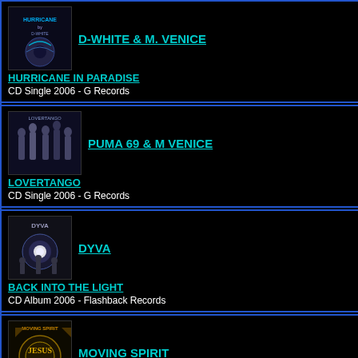D-WHITE & M. VENICE
HURRICANE IN PARADISE
CD Single 2006 - G Records
PUMA 69 & M VENICE
LOVERTANGO
CD Single 2006 - G Records
DYVA
BACK INTO THE LIGHT
CD Album 2006 - Flashback Records
MOVING SPIRIT
JESUS
CD Album 2007 - G Records
BELLA E I DRAGHI